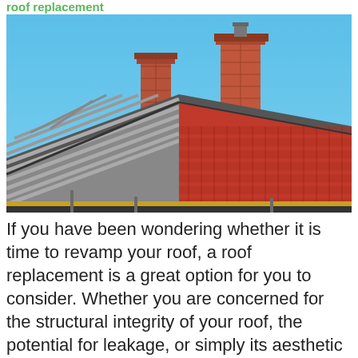...roof replacement...
[Figure (photo): A house roof being retiled, showing the left side with bare grey batten strips and the right side covered with red/terracotta clay roof tiles, two brick chimneys rising above the roofline, against a clear blue sky. Scaffolding and guttering visible at the base of the roof.]
If you have been wondering whether it is time to revamp your roof, a roof replacement is a great option for you to consider. Whether you are concerned for the structural integrity of your roof, the potential for leakage, or simply its aesthetic appeal, a roof replacement will satisfy your needs. Your roof plays a [...]